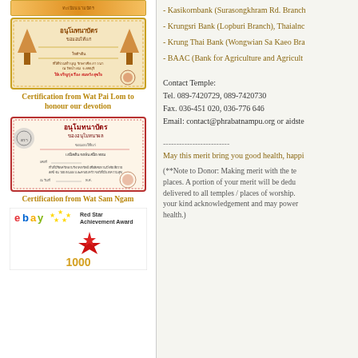[Figure (illustration): Certification from Wat Pai Lom - Thai Buddhist temple certificate with orange/gold ornate border]
Certification from Wat Pai Lom to honour our devotion
[Figure (illustration): Certification from Wat Sam Ngam - Thai Buddhist temple certificate with red ornate border]
Certification from Wat Sam Ngam
[Figure (illustration): eBay Red Star Achievement Award certificate with red star and number 1000]
- Kasikornbank (Surasongkhram Rd. Branch
- Krungsri Bank (Lopburi Branch), Thaialnc
- Krung Thai Bank (Wongwian Sa Kaeo Bra
- BAAC (Bank for Agriculture and Agricult
Contact Temple:
Tel. 089-7420729, 089-7420730
Fax. 036-451 020, 036-776 646
Email: contact@phrabatnampu.org or aidste
-------------------------
May this merit bring you good health, happi
(**Note to Donor: Making merit with the te places. A portion of your merit will be dedu delivered to all temples / places of worship. your kind acknowledgement and may power health.)